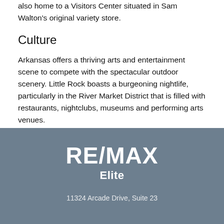also home to a Visitors Center situated in Sam Walton's original variety store.
Culture
Arkansas offers a thriving arts and entertainment scene to compete with the spectacular outdoor scenery. Little Rock boasts a burgeoning nightlife, particularly in the River Market District that is filled with restaurants, nightclubs, museums and performing arts venues.
[Figure (logo): RE/MAX Elite logo in white text on grey background]
11324 Arcade Drive, Suite 23